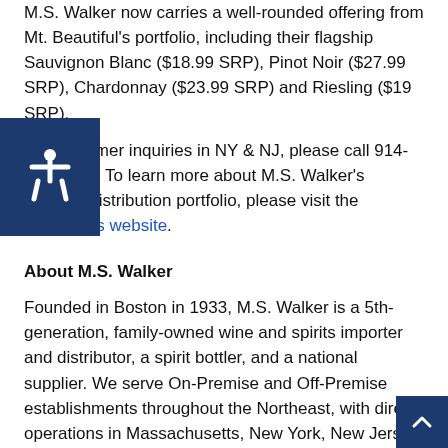M.S. Walker now carries a well-rounded offering from Mt. Beautiful's portfolio, including their flagship Sauvignon Blanc ($18.99 SRP), Pinot Noir ($27.99 SRP), Chardonnay ($23.99 SRP) and Riesling ($19 SRP).
For customer inquiries in NY & NJ, please call 914-235-5352. To learn more about M.S. Walker's regional distribution portfolio, please visit the company's website.
About M.S. Walker
Founded in Boston in 1933, M.S. Walker is a 5th-generation, family-owned wine and spirits importer and distributor, a spirit bottler, and a national supplier. We serve On-Premise and Off-Premise establishments throughout the Northeast, with direct operations in Massachusetts, New York, New Jersey and Rhode Island and brokerage operations in Maine, New Hampshire and Vermont. We represent a budding portfolio of wine and spirits nationwide, including our own brands, and we strive to offer the most prestig...